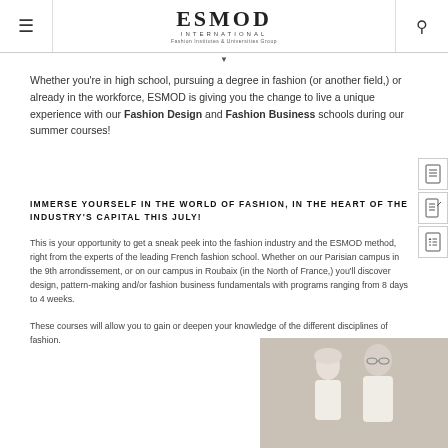ESMOD INTERNATIONAL — Fashion Institutes & Universities Group
Whether you're in high school, pursuing a degree in fashion (or another field,) or already in the workforce, ESMOD is giving you the change to live a unique experience with our Fashion Design and Fashion Business schools during our summer courses!
IMMERSE YOURSELF IN THE WORLD OF FASHION, IN THE HEART OF THE INDUSTRY'S CAPITAL THIS JULY!
This is your opportunity to get a sneak peek into the fashion industry and the ESMOD method, right from the experts of the leading French fashion school. Whether on our Parisian campus in the 9th arrondissement, or on our campus in Roubaix (in the North of France,) you'll discover design, pattern-making and/or fashion business fundamentals with programs ranging from 8 days to 4 weeks.
These courses will allow you to gain or deepen your knowledge of the different disciplines of fashion.
[Figure (photo): Two women dressed in white fashion outfits posing together]